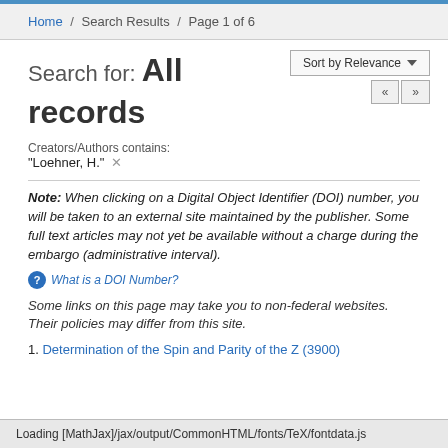Home / Search Results / Page 1 of 6
Search for: All records
Creators/Authors contains:
"Loehner, H." ×
Note: When clicking on a Digital Object Identifier (DOI) number, you will be taken to an external site maintained by the publisher. Some full text articles may not yet be available without a charge during the embargo (administrative interval).
❓ What is a DOI Number?
Some links on this page may take you to non-federal websites. Their policies may differ from this site.
1. Determination of the Spin and Parity of the Z (3900)
Loading [MathJax]/jax/output/CommonHTML/fonts/TeX/fontdata.js